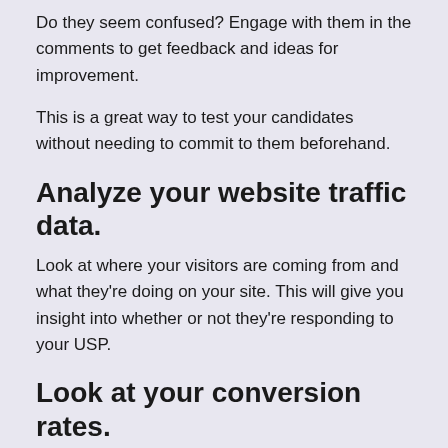Do they seem confused? Engage with them in the comments to get feedback and ideas for improvement.
This is a great way to test your candidates without needing to commit to them beforehand.
Analyze your website traffic data.
Look at where your visitors are coming from and what they're doing on your site. This will give you insight into whether or not they're responding to your USP.
Look at your conversion rates.
If you have a higher bounce rate after making a change, this could be an indication that your USP isn't resonating with your audience. Test out different variations and see which one works best.